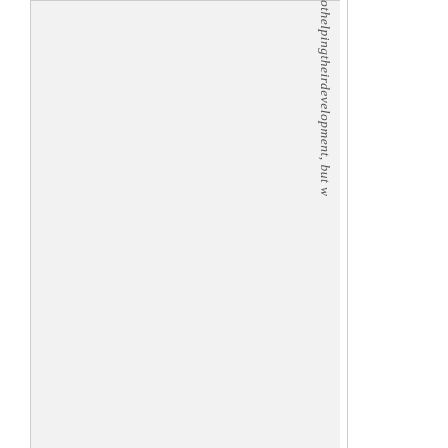[Figure (other): Light gray rectangular panel on the left side of the page, appears to be a placeholder or image area]
othelpingtheirdevelopment, but w